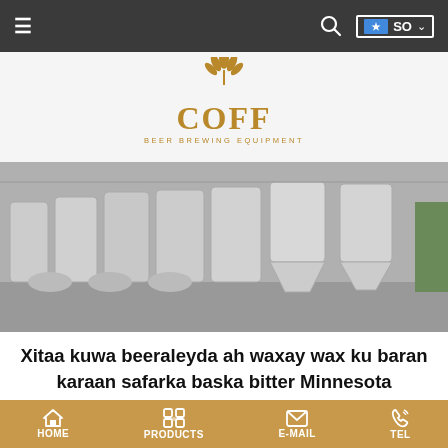≡  [search] SO ∨
[Figure (logo): COFF beer brewing equipment logo in gold/brown color with wheat grain icon above stylized text 'COFF' and subtitle 'BEER BREWING EQUIPMENT']
[Figure (photo): Black and white photo of a brewery interior showing rows of large stainless steel fermentation tanks and brewing vessels]
Xitaa kuwa beeraleyda ah waxay wax ku baran karaan safarka baska bitter Minnesota
Waqtiga: 2020-07-10   Faallo: 33
HOME   PRODUCTS   E-MAIL   TEL